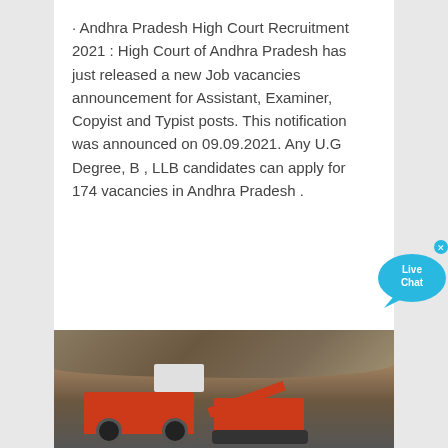· Andhra Pradesh High Court Recruitment 2021 : High Court of Andhra Pradesh has just released a new Job vacancies announcement for Assistant, Examiner, Copyist and Typist posts. This notification was announced on 09.09.2021. Any U.G Degree, B , LLB candidates can apply for 174 vacancies in Andhra Pradesh .
[Figure (photo): Construction/mining machinery including a red crusher/conveyor machine and an excavator working at a rocky quarry site.]